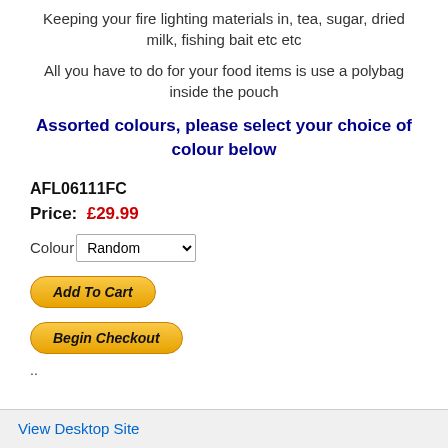Keeping your fire lighting materials in, tea, sugar, dried milk, fishing bait etc etc
All you have to do for your food items is use a polybag inside the pouch
Assorted colours, please select your choice of colour below
AFL06111FC
Price: £29.99
Colour Random
Add To Cart
Begin Checkout
..
View Desktop Site